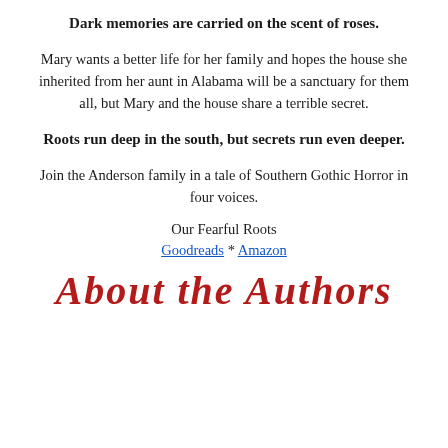Dark memories are carried on the scent of roses.
Mary wants a better life for her family and hopes the house she inherited from her aunt in Alabama will be a sanctuary for them all, but Mary and the house share a terrible secret.
Roots run deep in the south, but secrets run even deeper.
Join the Anderson family in a tale of Southern Gothic Horror in four voices.
Our Fearful Roots
Goodreads * Amazon
About the Authors